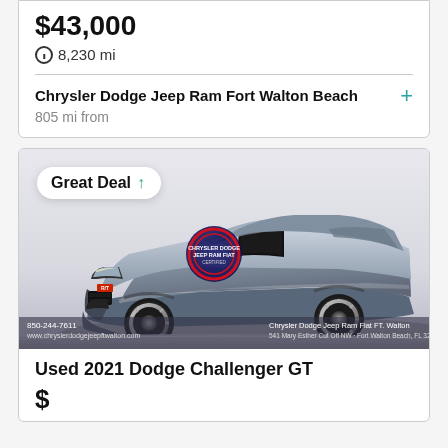$43,000
8,230 mi
Chrysler Dodge Jeep Ram Fort Walton Beach
805 mi from
[Figure (photo): Silver 2021 Dodge Challenger GT, front three-quarter view on gray studio background, with dealer badge and contact info overlay: 850-244-7611, www.chryslerdodgejeepftwalton.com, Chrysler Dodge Jeep Ram Fiat FT. Walton, 541 Mary Esther Cut Off NW - Fort Walton Beach, FL 32548]
Great Deal ↑
Used 2021 Dodge Challenger GT
$